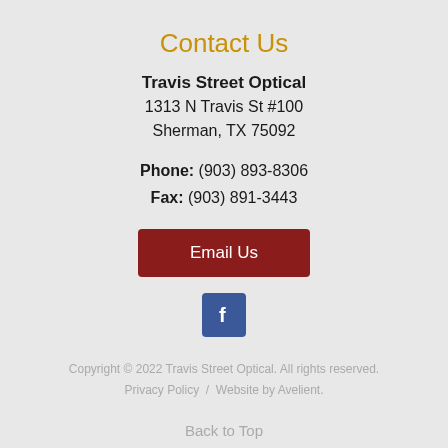Contact Us
Travis Street Optical
1313 N Travis St #100
Sherman, TX 75092
Phone: (903) 893-8306
Fax: (903) 891-3443
Email Us
[Figure (logo): Facebook icon — white letter f on blue square background]
Copyright © 2022 Travis Street Optical. All rights reserved.
Privacy Policy  /  Website by Avelient.
Back to Top